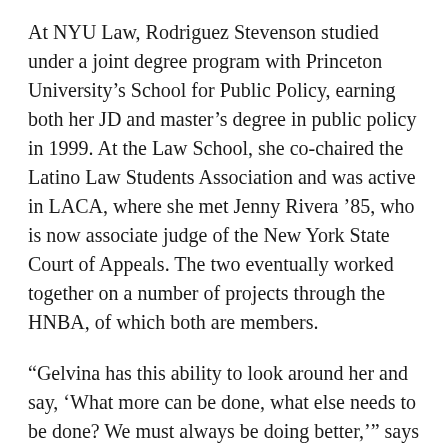At NYU Law, Rodriguez Stevenson studied under a joint degree program with Princeton University's School for Public Policy, earning both her JD and master's degree in public policy in 1999. At the Law School, she co-chaired the Latino Law Students Association and was active in LACA, where she met Jenny Rivera '85, who is now associate judge of the New York State Court of Appeals. The two eventually worked together on a number of projects through the HNBA, of which both are members.
“Gelvina has this ability to look around her and say, ‘What more can be done, what else needs to be done? We must always be doing better,’” says Rivera. “This is epitomized in her creation of the health law committee…. Her commitment to giving back, her deep humanity and desire to make our profession more equitable, fair, and just—in the truest sense make her the very best of NYU